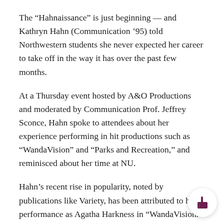The “Hahnaissance” is just beginning — and Kathryn Hahn (Communication ’95) told Northwestern students she never expected her career to take off in the way it has over the past few months.
At a Thursday event hosted by A&O Productions and moderated by Communication Prof. Jeffrey Sconce, Hahn spoke to attendees about her experience performing in hit productions such as “WandaVision” and “Parks and Recreation,” and reminisced about her time at NU.
Hahn’s recent rise in popularity, noted by publications like Variety, has been attributed to her performance as Agatha Harkness in “WandaVision.” She said she ascribes her meteoric rise, which shows no sign of stopping, to her artistic individuality.
“What makes you special, your superpower as an artist, your individuality,” Hahn said. “That acknowledgement